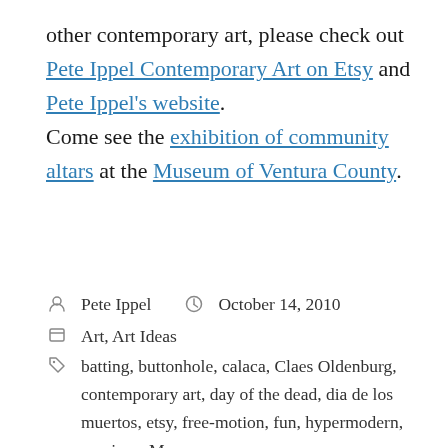other contemporary art, please check out Pete Ippel Contemporary Art on Etsy and Pete Ippel's website.
Come see the exhibition of community altars at the Museum of Ventura County.
Posted by Pete Ippel  October 14, 2010  Categories: Art, Art Ideas  Tags: batting, buttonhole, calaca, Claes Oldenburg, contemporary art, day of the dead, dia de los muertos, etsy, free-motion, fun, hypermodern, mexican, Moca,